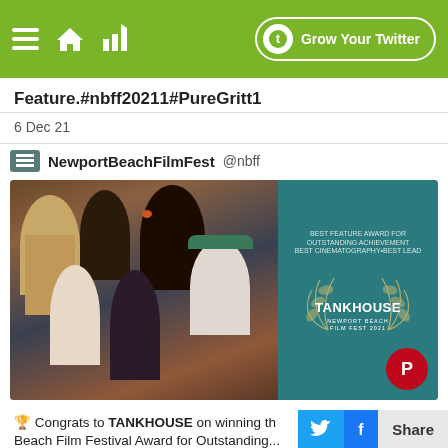Grow Your Twitter
Feature.#nbff20211#PureGritt1
6 Dec 21
NewportBeachFilmFest @nbff
[Figure (photo): Group photo of cast members for TANKHOUSE film, alongside Newport Beach Film Fest 2021 award laurel logo on teal background]
🏆 Congrats to TANKHOUSE on winning th... Newport Beach Film Festival Award for Outstanding...